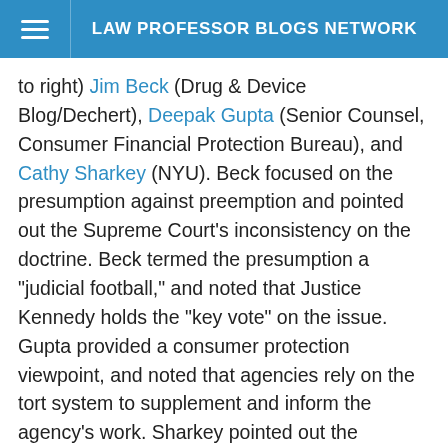LAW PROFESSOR BLOGS NETWORK
to right) Jim Beck (Drug & Device Blog/Dechert), Deepak Gupta (Senior Counsel, Consumer Financial Protection Bureau), and Cathy Sharkey (NYU). Beck focused on the presumption against preemption and pointed out the Supreme Court's inconsistency on the doctrine. Beck termed the presumption a "judicial football," and noted that Justice Kennedy holds the "key vote" on the issue. Gupta provided a consumer protection viewpoint, and noted that agencies rely on the tort system to supplement and inform the agency's work. Sharkey pointed out the "absurdity" of the Court's rulings in Wyeth v. Levine and Pliva v. Mensing: If you take the generic version of a drug, preemption applies, but if you take the brand name version of the same drug, preemption does not apply. Sharkey advocated a new